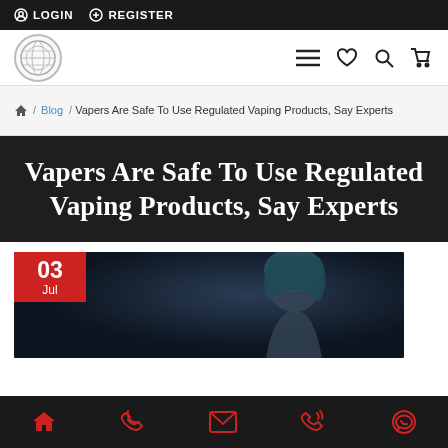LOGIN  REGISTER
[Figure (screenshot): Website navigation bar with circular logo and icons for menu, wishlist, search, and cart]
🏠 / Blog / Vapers Are Safe To Use Regulated Vaping Products, Say Experts
Vapers Are Safe To Use Regulated Vaping Products, Say Experts
[Figure (photo): Blog post thumbnail showing a person vaping with blue hair, date badge showing 03 Jul in red]
Bottom navigation bar with home, phone, email, call, and WhatsApp icons